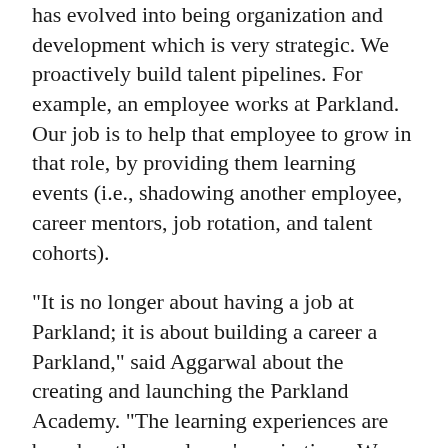has evolved into being organization and development which is very strategic. We proactively build talent pipelines. For example, an employee works at Parkland. Our job is to help that employee to grow in that role, by providing them learning events (i.e., shadowing another employee, career mentors, job rotation, and talent cohorts).
"It is no longer about having a job at Parkland; it is about building a career a Parkland," said Aggarwal about the creating and launching the Parkland Academy. "The learning experiences are based on the employee's aspirations. We make sure the employee has core competencies to help them grow in their positions."
"Most people tell you to go with heart when deciding